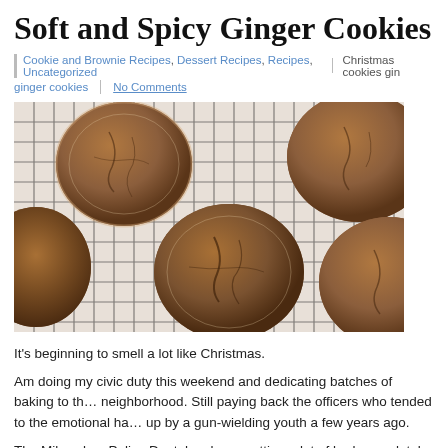Soft and Spicy Ginger Cookies
Cookie and Brownie Recipes, Dessert Recipes, Recipes, Uncategorized | Christmas cookies gin…
ginger cookies | No Comments
[Figure (photo): Soft ginger cookies on a wire cooling rack, viewed from above. The cookies are round, crackled on top with sugar coating, brownish in color.]
It's beginning to smell a lot like Christmas.
Am doing my civic duty this weekend and dedicating batches of baking to the neighborhood. Still paying back the officers who tended to the emotional ha… up by a gun-wielding youth a few years ago.
The Milwaukee Police Dept. has been getting a lot of bad press lately. But th…